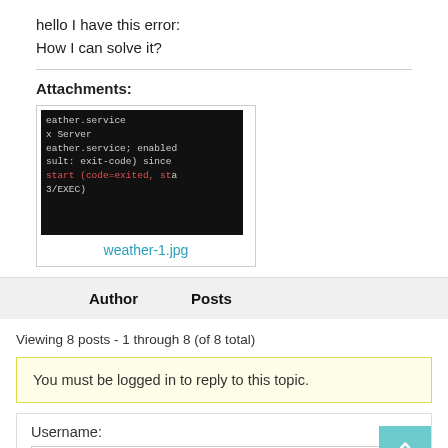hello I have this error:
How I can solve it?
Attachments:
[Figure (screenshot): Terminal/console output screenshot showing error lines related to weather.service, X Server, enabled, exit-code, start (code=exited, status=3/EXEC)]
weather-1.jpg
| Author | Posts |
| --- | --- |
Viewing 8 posts - 1 through 8 (of 8 total)
You must be logged in to reply to this topic.
Username: